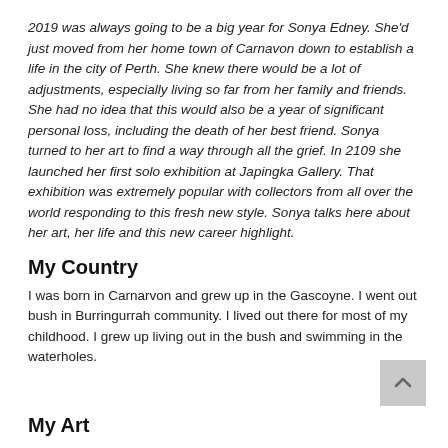2019 was always going to be a big year for Sonya Edney. She'd just moved from her home town of Carnavon down to establish a life in the city of Perth. She knew there would be a lot of adjustments, especially living so far from her family and friends. She had no idea that this would also be a year of significant personal loss, including the death of her best friend. Sonya turned to her art to find a way through all the grief. In 2109 she launched her first solo exhibition at Japingka Gallery. That exhibition was extremely popular with collectors from all over the world responding to this fresh new style. Sonya talks here about her art, her life and this new career highlight.
My Country
I was born in Carnarvon and grew up in the Gascoyne. I went out bush in Burringurrah community. I lived out there for most of my childhood. I grew up living out in the bush and swimming in the waterholes.
My Art